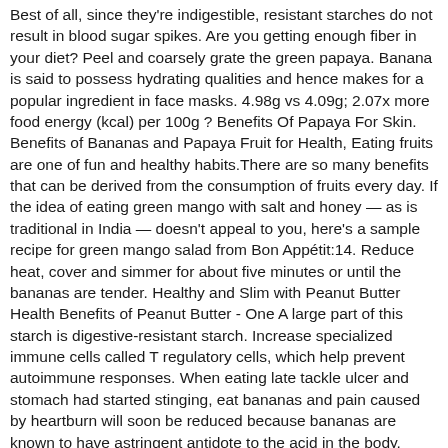Best of all, since they're indigestible, resistant starches do not result in blood sugar spikes. Are you getting enough fiber in your diet? Peel and coarsely grate the green papaya. Banana is said to possess hydrating qualities and hence makes for a popular ingredient in face masks. 4.98g vs 4.09g; 2.07x more food energy (kcal) per 100g ? Benefits Of Papaya For Skin. Benefits of Bananas and Papaya Fruit for Health, Eating fruits are one of fun and healthy habits.There are so many benefits that can be derived from the consumption of fruits every day. If the idea of eating green mango with salt and honey — as is traditional in India — doesn't appeal to you, here's a sample recipe for green mango salad from Bon Appétit:14. Reduce heat, cover and simmer for about five minutes or until the bananas are tender. Healthy and Slim with Peanut Butter Health Benefits of Peanut Butter - One A large part of this starch is digestive-resistant starch. Increase specialized immune cells called T regulatory cells, which help prevent autoimmune responses. When eating late tackle ulcer and stomach had started stinging, eat bananas and pain caused by heartburn will soon be reduced because bananas are known to have astringent antidote to the acid in the body. Interestingly, unripe mango is an exceptionally rich source of vitamin C. Green (unripe) Langra mango contains as much vitamin C as 35 apples, nine lemons or three oranges.12. Improves digestion: The papain and chymopapain of papaya help in digestion and fight constipation. While there are individual differences, as a general rule, most people could